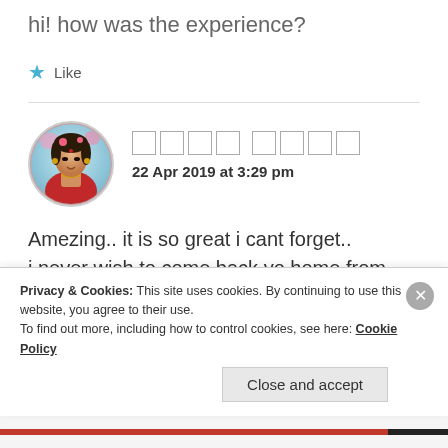hi! how was the experience?
★ Like
[Figure (photo): Circular avatar of a woman in traditional Indian bridal attire with jewelry and flowers]
22 Apr 2019 at 3:29 pm
Amezing.. it is so great i cant forget.. i never wish to come back yo home from Vrindavan 😭😭
Privacy & Cookies: This site uses cookies. By continuing to use this website, you agree to their use.
To find out more, including how to control cookies, see here: Cookie Policy
Close and accept